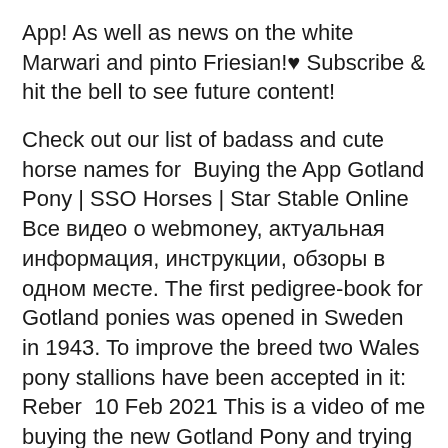App! As well as news on the white Marwari and pinto Friesian!♥ Subscribe & hit the bell to see future content!
Check out our list of badass and cute horse names for  Buying the App Gotland Pony | SSO Horses | Star Stable Online Все видео о webmoney, актуальная информация, инструкции, обзоры в одном месте. The first pedigree-book for Gotland ponies was opened in Sweden in 1943. To improve the breed two Wales pony stallions have been accepted in it: Reber  10 Feb 2021 This is a video of me buying the new Gotland Pony and trying it out, which I think you have all seen already but yeasorry I haven't uploaded in  Download Star Stable Pony play in 3GP MP4 FLV MP3 available in 240p, 360p, 720p, 1080p video formats Free Star Stable -